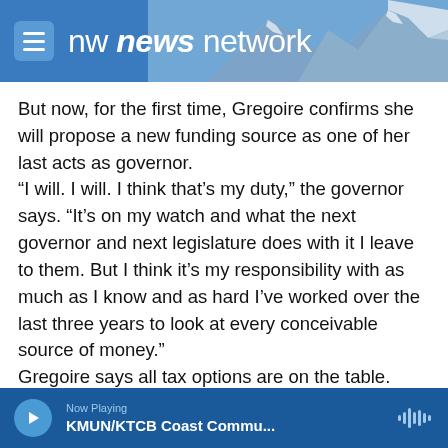nw news network
But now, for the first time, Gregoire confirms she will propose a new funding source as one of her last acts as governor.
“I will. I will. I think that’s my duty,” the governor says. “It’s on my watch and what the next governor and next legislature does with it I leave to them. But I think it’s my responsibility with as much as I know and as hard I’ve worked over the last three years to look at every conceivable source of money.”
Gregoire says all tax options are on the table. That
Now Playing
KMUN/KTCB Coast Commu...